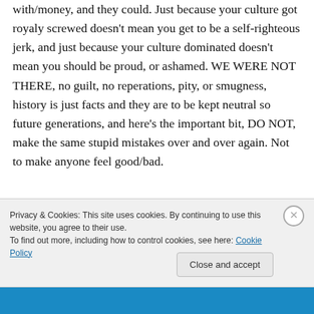with/money, and they could. Just because your culture got royaly screwed doesn't mean you get to be a self-righteous jerk, and just because your culture dominated doesn't mean you should be proud, or ashamed. WE WERE NOT THERE, no guilt, no reperations, pity, or smugness, history is just facts and they are to be kept neutral so future generations, and here's the important bit, DO NOT, make the same stupid mistakes over and over again. Not to make anyone feel good/bad.
Privacy & Cookies: This site uses cookies. By continuing to use this website, you agree to their use.
To find out more, including how to control cookies, see here: Cookie Policy